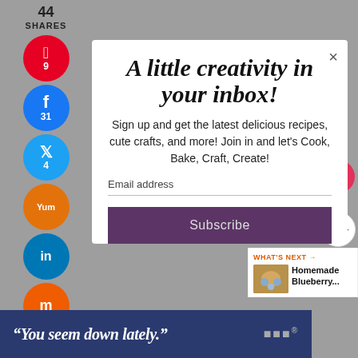44
SHARES
A little creativity in your inbox!
Sign up and get the latest delicious recipes, cute crafts, and more! Join in and let's Cook, Bake, Craft, Create!
Email address
Subscribe
245
WHAT'S NEXT → Homemade Blueberry...
“You seem down lately.”